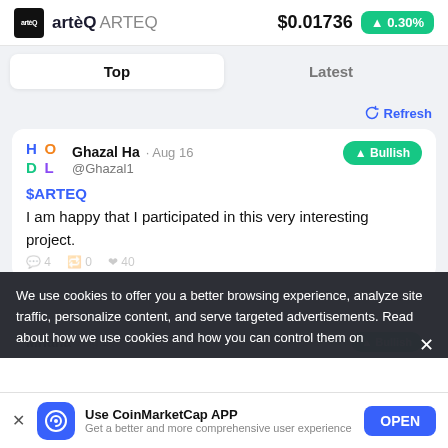artèQ ARTEQ  $0.01736  ▲0.30%
Top  Latest
Refresh
Ghazal Ha · Aug 16 @Ghazal1  ▲ Bullish
$ARTEQ
I am happy that I participated in this very interesting project.
We use cookies to offer you a better browsing experience, analyze site traffic, personalize content, and serve targeted advertisements. Read about how we use cookies and how you can control them on
Mriana  Aug 1  Bullish
Use CoinMarketCap APP
Get a better and more comprehensive user experience